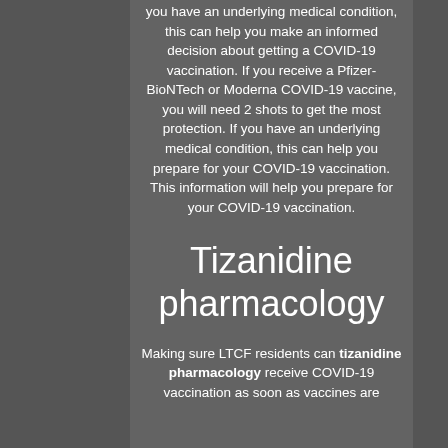you have an underlying medical condition, this can help you make an informed decision about getting a COVID-19 vaccination. If you receive a Pfizer-BioNTech or Moderna COVID-19 vaccine, you will need 2 shots to get the most protection. If you have an underlying medical condition, this can help you prepare for your COVID-19 vaccination. This information will help you prepare for your COVID-19 vaccination.
Tizanidine pharmacology
Making sure LTCF residents can tizanidine pharmacology receive COVID-19 vaccination as soon as vaccines are